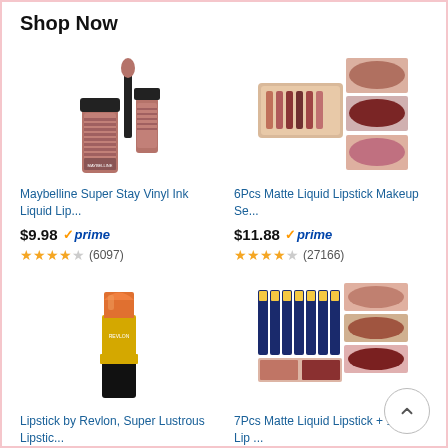Shop Now
[Figure (photo): Maybelline Super Stay Vinyl Ink Liquid Lip product photo showing tube and applicator in mauve/rose shade]
Maybelline Super Stay Vinyl Ink Liquid Lip...
$9.98 ✓prime
★★★★☆ (6097)
[Figure (photo): 6Pcs Matte Liquid Lipstick Makeup Set showing palette box and lip swatches in various shades]
6Pcs Matte Liquid Lipstick Makeup Se...
$11.88 ✓prime
★★★★☆ (27166)
[Figure (photo): Revlon Super Lustrous Lipstick in orange-coral shade, classic bullet lipstick]
Lipstick by Revlon, Super Lustrous Lipstic...
[Figure (photo): 7Pcs Matte Liquid Lipstick + 1Pcs Lip set showing multiple glossy tubes and lip swatches]
7Pcs Matte Liquid Lipstick + 1Pcs Lip ...